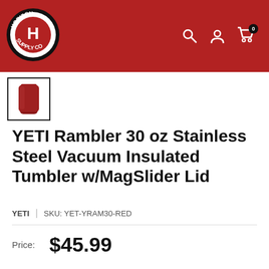[Figure (logo): Horizon Supply Co logo — circular black and white logo with red H in center, on red header background]
[Figure (photo): Small thumbnail of a red YETI Rambler tumbler cup]
YETI Rambler 30 oz Stainless Steel Vacuum Insulated Tumbler w/MagSlider Lid
YETI  |  SKU: YET-YRAM30-RED
Price:  $45.99